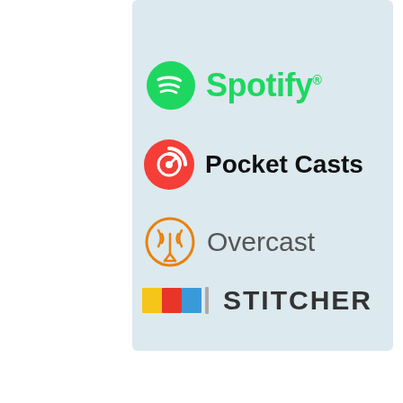[Figure (logo): Spotify logo - green circle with white sound waves icon and green Spotify text]
[Figure (logo): Pocket Casts logo - red circle with white podcast waves icon and bold black Pocket Casts text]
[Figure (logo): Overcast logo - orange circle outline with broadcast tower icon and gray Overcast text]
[Figure (logo): Stitcher logo - colorful horizontal bars yellow/red/blue with vertical bar divider and bold dark STITCHER text]